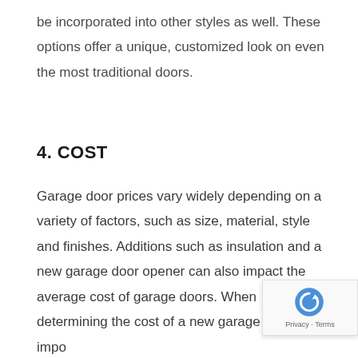be incorporated into other styles as well. These options offer a unique, customized look on even the most traditional doors.
4. COST
Garage door prices vary widely depending on a variety of factors, such as size, material, style and finishes. Additions such as insulation and a new garage door opener can also impact the average cost of garage doors. When determining the cost of a new garage door, it's impo to include installation costs so you have a clear pict